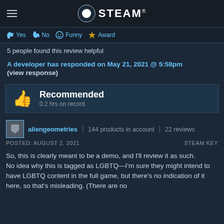STEAM®
Yes  No  Funny  Award
5 people found this review helpful
A developer has responded on May 21, 2021 @ 5:58pm
(view response)
Recommended
0.2 hrs on record
aliengeometries | 144 products in account | 22 reviews
POSTED: AUGUST 2, 2021  STEAM KEY
So, this is clearly meant to be a demo, and I'll review it as such.
No idea why this is tagged as LGBTQ—I'm sure they might intend to have LGBTQ content in the full game, but there's no indication of it here, so that's misleading. (There are no